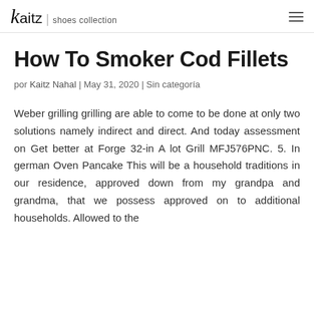kaitz | shoes collection
How To Smoker Cod Fillets
por Kaitz Nahal | May 31, 2020 | Sin categoría
Weber grilling grilling are able to come to be done at only two solutions namely indirect and direct. And today assessment on Get better at Forge 32-in A lot Grill MFJ576PNC. 5. In german Oven Pancake This will be a household traditions in our residence, approved down from my grandpa and grandma, that we possess approved on to additional households. Allowed to the